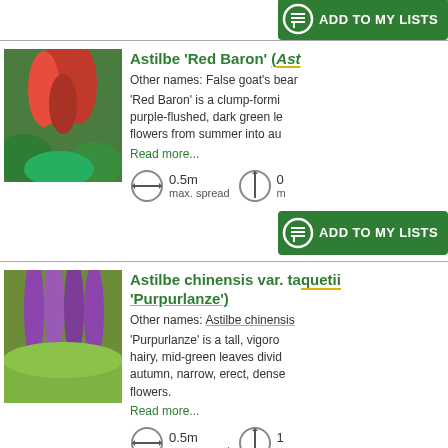[Figure (other): Green 'ADD TO MY LISTS' button partially visible at top of page]
Astilbe 'Red Baron' (Astilbe 'Red Baron')
Other names: False goat's beard
'Red Baron' is a clump-forming, purple-flushed, dark green leaves, flowers from summer into autumn.
Read more...
0.5m max. spread
[Figure (other): Green 'ADD TO MY LISTS' button]
[Figure (photo): Photo of Astilbe Red Baron plant with red flowers]
Astilbe chinensis var. taquetii 'Purpurlanze'
Other names: Astilbe chinensis
'Purpurlanze' is a tall, vigorous, hairy, mid-green leaves divided, autumn, narrow, erect, dense flowers.
Read more...
0.5m max. spread  1 m
[Figure (other): Green 'ADD TO MY LISTS' button partially visible at bottom]
[Figure (photo): Photo of Astilbe chinensis var. taquetii Purpurlanze with purple flowers]